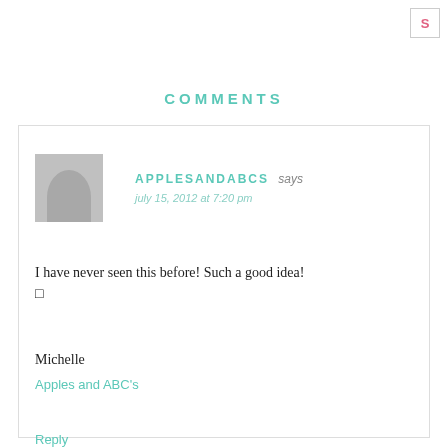S
COMMENTS
APPLESANDABCS says
july 15, 2012 at 7:20 pm

I have never seen this before! Such a good idea!
□

Michelle
Apples and ABC's

Reply